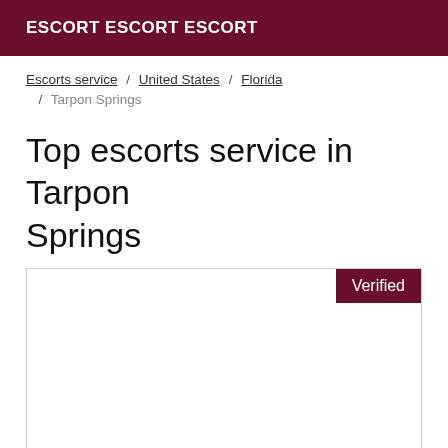ESCORT ESCORT ESCORT
Escorts service / United States / Florida / Tarpon Springs
Top escorts service in Tarpon Springs
[Figure (other): Listing card with a Verified badge in the top right corner, content area is blank/white]